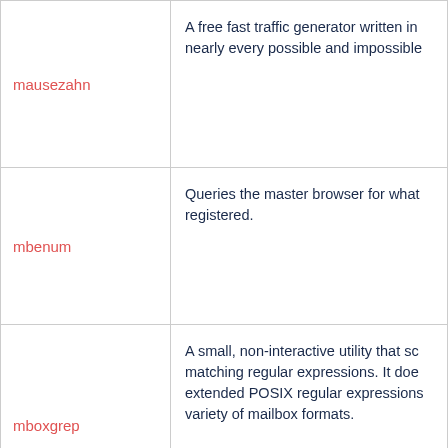| Tool | Description |
| --- | --- |
| mausezahn | A free fast traffic generator written in nearly every possible and impossible |
| mbenum | Queries the master browser for what registered. |
| mboxgrep | A small, non-interactive utility that sc matching regular expressions. It doe extended POSIX regular expressions variety of mailbox formats. |
| mdcrack | MD4/MD5/NTLM1 hash cracker |